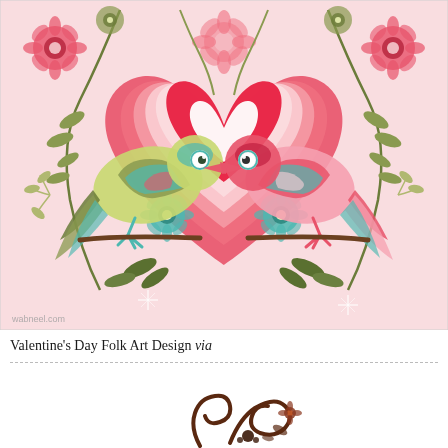[Figure (illustration): Valentine's Day folk art design illustration on a pink background featuring two colorful birds (one teal/green on the left, one pink/red on the right) facing each other, surrounded by decorative floral and leaf patterns, with a large ornate heart in the center made of concentric hearts and flowers. Watermark 'wabneel.com' in bottom left corner.]
Valentine's Day Folk Art Design via
[Figure (illustration): Partial view of a second illustration showing dark brown swirling decorative folk art design on white background, partially visible at bottom of page.]